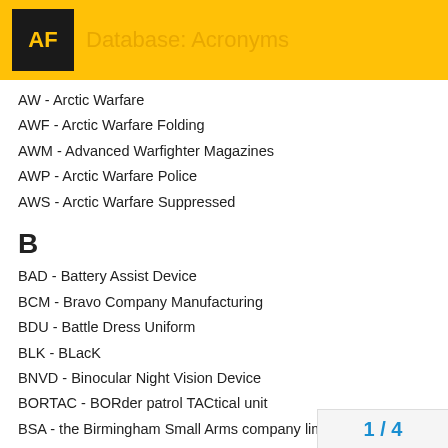Database: Acronyms
AW - Arctic Warfare
AWF - Arctic Warfare Folding
AWM - Advanced Warfighter Magazines
AWP - Arctic Warfare Police
AWS - Arctic Warfare Suppressed
B
BAD - Battery Assist Device
BCM - Bravo Company Manufacturing
BDU - Battle Dress Uniform
BLK - BLacK
BNVD - Binocular Night Vision Device
BORTAC - BORder patrol TACtical unit
BSA - the Birmingham Small Arms company limited 🇬🇧
BTV-EL - Bottom and Top Venting system - Extended Length
BUIS - Back Up Iron Sight
1 / 4